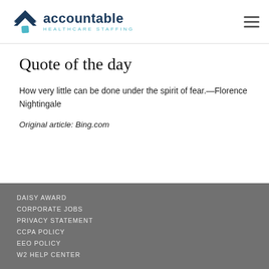accountable HEALTHCARE STAFFING
Quote of the day
How very little can be done under the spirit of fear.—Florence Nightingale
Original article: Bing.com
DAISY AWARD
CORPORATE JOBS
PRIVACY STATEMENT
CCPA POLICY
EEO POLICY
W2 HELP CENTER